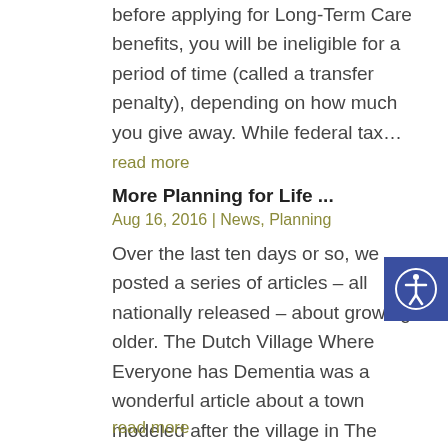before applying for Long-Term Care benefits, you will be ineligible for a period of time (called a transfer penalty), depending on how much you give away. While federal tax…
read more
More Planning for Life ...
Aug 16, 2016 | News, Planning
Over the last ten days or so, we posted a series of articles – all nationally released – about growing older. The Dutch Village Where Everyone has Dementia was a wonderful article about a town modeled after the village in The Truman Show – you remember, perfect…
read more